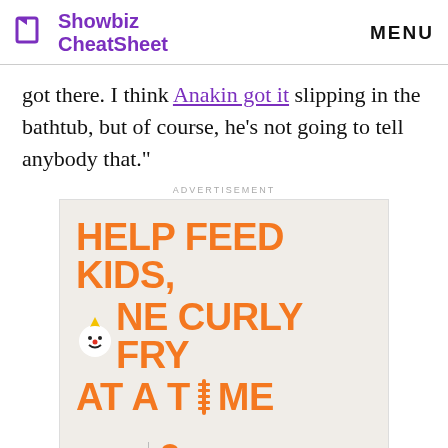Showbiz CheatSheet  MENU
got there. I think Anakin got it slipping in the bathtub, but of course, he's not going to tell anybody that."
ADVERTISEMENT
[Figure (illustration): Jack in the Box advertisement: 'HELP FEED KIDS, ONE CURLY FRY AT A TIME' with Jack in the Box clown logo and No Kid Hungry partnership logo]